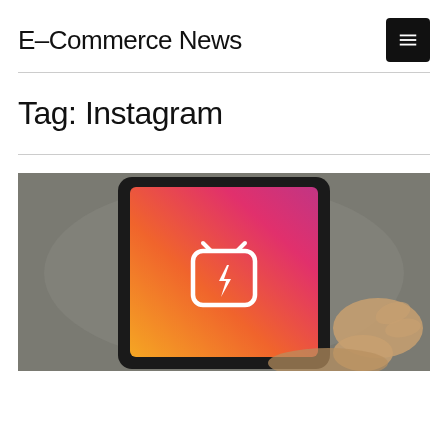E-Commerce News
Tag: Instagram
[Figure (photo): A hand holding a tablet/smartphone displaying the Instagram IGTV app logo on a gradient orange-to-pink screen background]